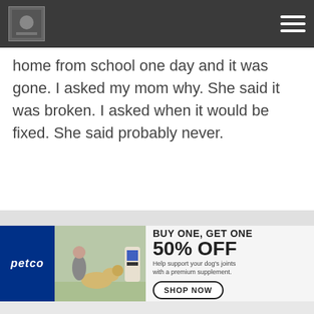[Navigation bar with logo and hamburger menu]
home from school one day and it was gone. I asked my mom why. She said it was broken. I asked when it would be fixed. She said probably never.
[Figure (infographic): Petco advertisement banner: BUY ONE, GET ONE 50% OFF - Help support your dog's joints with a premium supplement. SHOP NOW button. Shows woman with dog and supplement product.]